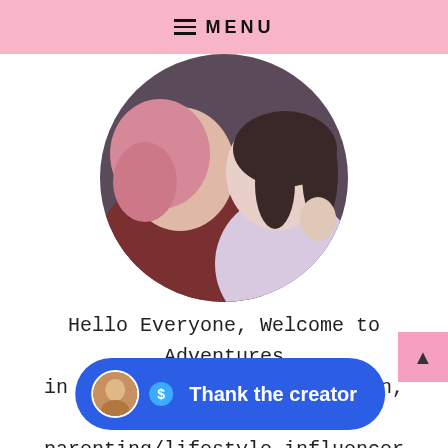MENU
[Figure (photo): Circular profile photo of two people — a woman with pink hair on the left and a younger girl on the right, both smiling and posing together]
Hello Everyone, Welcome to Adventures in Abbyland. My name is Robyn, I'm a parenting/lifestyle influencer and DIY enthusiast. My daughter Abby is a teen influ... ...ass ado... ...e loves to help with sharing fun fashion
[Figure (other): Thank the creator button overlay with avatar, dollar icon, and label text 'Thank the creator']